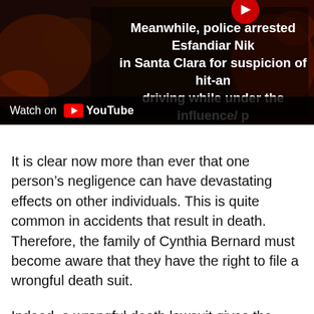[Figure (screenshot): YouTube video thumbnail showing a dark scene with a news overlay text: 'Meanwhile, police arrested Esfandiar Nik in Santa Clara for suspicion of hit-an driving while under the influence/ p of drug para'. A 'Watch on YouTube' bar is visible at the bottom of the video frame.]
It is clear now more than ever that one person's negligence can have devastating effects on other individuals. This is quite common in accidents that result in death. Therefore, the family of Cynthia Bernard must become aware that they have the right to file a wrongful death suit.
Indeed, a wrongful death lawsuit gives the loved ones of a departed family member some semblance of justice.